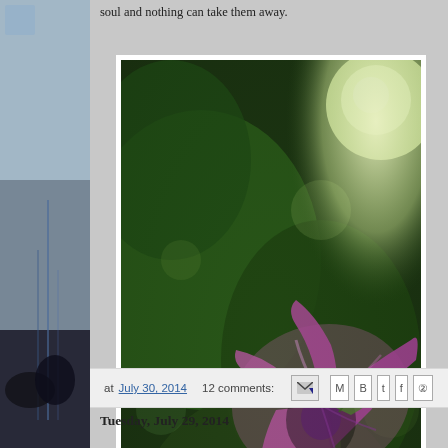soul and nothing can take them away.
[Figure (photo): Close-up photograph of a pink/purple morning glory flower against a blurred green leafy background with bright bokeh light in upper right corner]
at July 30, 2014   12 comments:
Tuesday, July 29, 2014